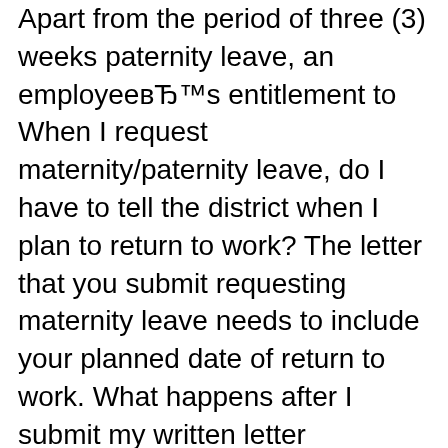Apart from the period of three (3) weeks paternity leave, an employee's entitlement to When I request maternity/paternity leave, do I have to tell the district when I plan to return to work? The letter that you submit requesting maternity leave needs to include your planned date of return to work. What happens after I submit my written letter requesting maternity leave? Your request for approval of FMLA leave will be included on the next available Board of Education agenda. Once
That payment of daily maternity benefits is a bar to the recovery of SSS sickness benefits for the same period